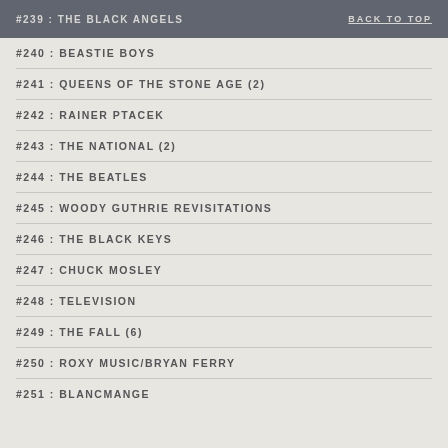#239 : THE BLACK ANGELS   BACK TO TOP
#240 : BEASTIE BOYS
#241 : QUEENS OF THE STONE AGE (2)
#242 : RAINER PTACEK
#243 : THE NATIONAL (2)
#244 : THE BEATLES
#245 : WOODY GUTHRIE REVISITATIONS
#246 : THE BLACK KEYS
#247 : CHUCK MOSLEY
#248 : TELEVISION
#249 : THE FALL (6)
#250 : ROXY MUSIC/BRYAN FERRY
#251 : BLANCMANGE